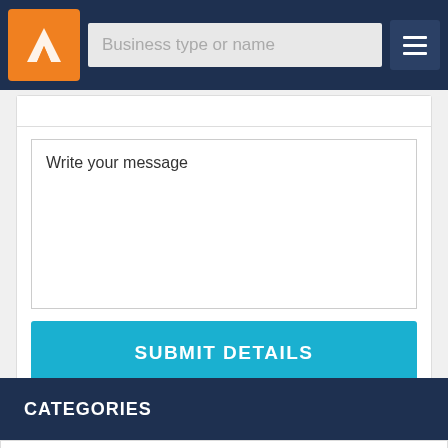[Figure (screenshot): Website navigation bar with orange logo, search input placeholder 'Business type or name', and hamburger menu button]
Write your message
SUBMIT DETAILS
CATEGORIES
Dandelions - Six Tanks 3.00-5.00pm, Classes & Workshops
Dandelions - Six Tanks 3.00-5.00pm, Unique Experiences